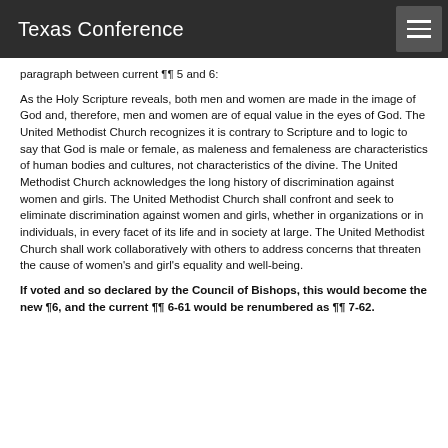Texas Conference
paragraph between current ¶¶ 5 and 6:
As the Holy Scripture reveals, both men and women are made in the image of God and, therefore, men and women are of equal value in the eyes of God. The United Methodist Church recognizes it is contrary to Scripture and to logic to say that God is male or female, as maleness and femaleness are characteristics of human bodies and cultures, not characteristics of the divine. The United Methodist Church acknowledges the long history of discrimination against women and girls. The United Methodist Church shall confront and seek to eliminate discrimination against women and girls, whether in organizations or in individuals, in every facet of its life and in society at large. The United Methodist Church shall work collaboratively with others to address concerns that threaten the cause of women's and girl's equality and well-being.
If voted and so declared by the Council of Bishops, this would become the new ¶6, and the current ¶¶ 6-61 would be renumbered as ¶¶ 7-62.